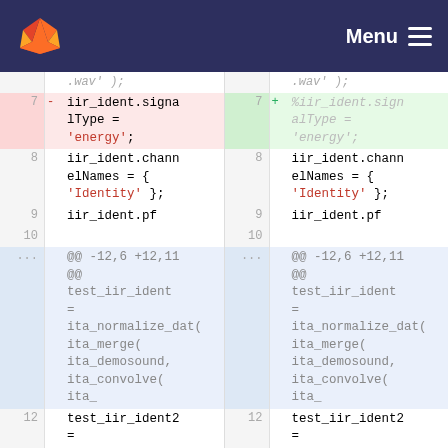GitLab Menu
[Figure (screenshot): Code diff view showing two sides of a file comparison. Left side shows deleted line (line 7) with iir_ident.signalType = 'energy'; and right side shows added line (line 7) with %iir_ident.signalType = 'energy';. Lines 8-10 and ... sections show unchanged context code including iir_ident.channelNames = { 'Identity' };, iir_ident.pf, hunk headers @@ -12,6 +12,11 @@, test_iir_ident = ita_normalize_dat( ita_merge( ita_demosound, ita_convolve( ita_, and line 12 test_iir_ident2 =]